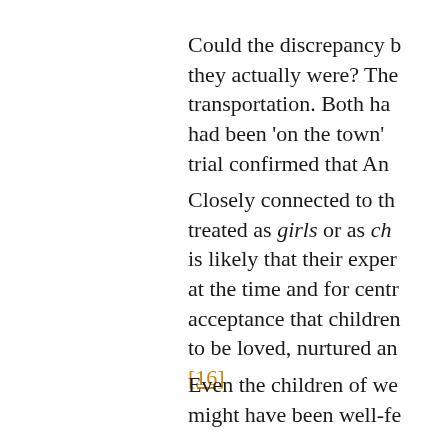Could the discrepancy b... they actually were? The... transportation. Both ha... had been 'on the town'... trial confirmed that Ann...
Closely connected to th... treated as girls or as chi... is likely that their exper... at the time and for centu... acceptance that children... to be loved, nurtured an... [16]
Even the children of we... might have been well-fe...